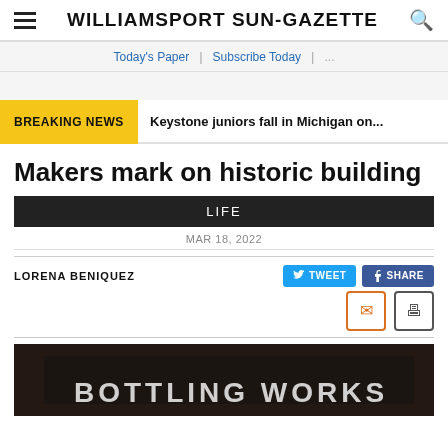WILLIAMSPORT SUN-GAZETTE
Today's Paper | Subscribe Today | ...
BREAKING NEWS   Keystone juniors fall in Michigan on...
Makers mark on historic building
LIFE
MAR 18, 2022
LORENA BENIQUEZ
[Figure (photo): Dark interior photo showing a sign reading 'BOTTLING WORKS' with brick wall background]